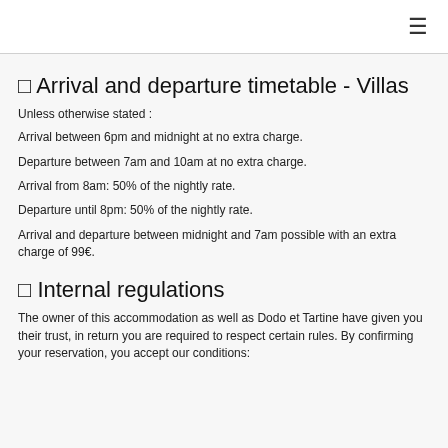☰
⊞ Arrival and departure timetable - Villas
Unless otherwise stated :
Arrival between 6pm and midnight at no extra charge.
Departure between 7am and 10am at no extra charge.
Arrival from 8am: 50% of the nightly rate.
Departure until 8pm: 50% of the nightly rate.
Arrival and departure between midnight and 7am possible with an extra charge of 99€.
⊞ Internal regulations
The owner of this accommodation as well as Dodo et Tartine have given you their trust, in return you are required to respect certain rules. By confirming your reservation, you accept our conditions: